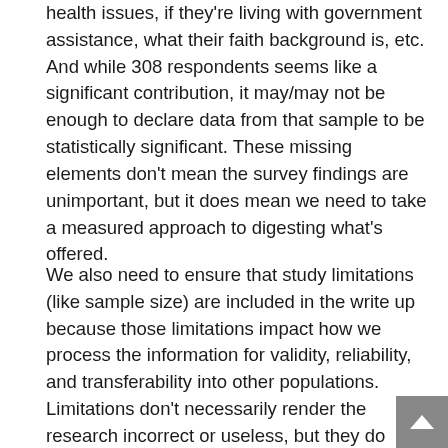health issues, if they're living with government assistance, what their faith background is, etc. And while 308 respondents seems like a significant contribution, it may/may not be enough to declare data from that sample to be statistically significant. These missing elements don't mean the survey findings are unimportant, but it does mean we need to take a measured approach to digesting what's offered.
We also need to ensure that study limitations (like sample size) are included in the write up because those limitations impact how we process the information for validity, reliability, and transferability into other populations. Limitations don't necessarily render the research incorrect or useless, but they do provide important context for the findings as well as how we might move forward to study a similar topic.